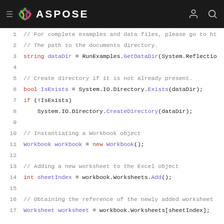ASPOSE
[Figure (screenshot): Code snippet showing C# code to create a directory and instantiate a Workbook object using Aspose.Cells library. Lines 1-17 visible.]